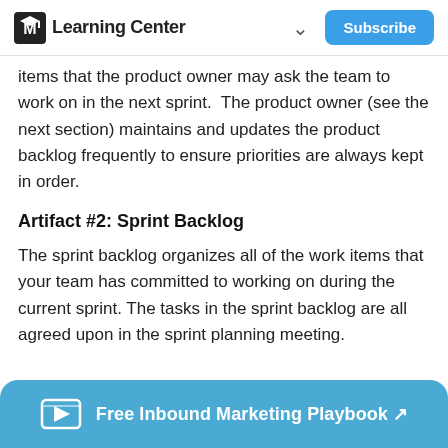Learning Center  Subscribe
items that the product owner may ask the team to work on in the next sprint.  The product owner (see the next section) maintains and updates the product backlog frequently to ensure priorities are always kept in order.
Artifact #2: Sprint Backlog
The sprint backlog organizes all of the work items that your team has committed to working on during the current sprint. The tasks in the sprint backlog are all agreed upon in the sprint planning meeting.
Free Inbound Marketing Playbook ↗